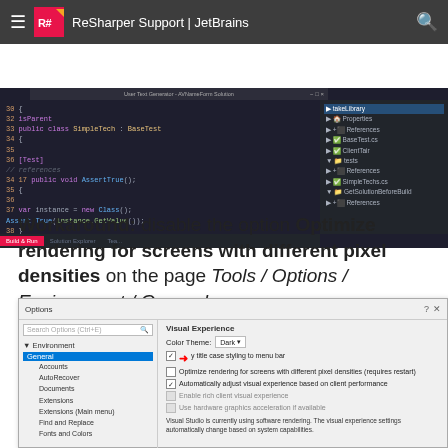ReSharper Support | JetBrains
[Figure (screenshot): Visual Studio IDE screenshot showing C# code editor with SimpleTech class and test methods, plus Solution Explorer panel on the right.]
Workaround: disable the option Optimize rendering for screens with different pixel densities on the page Tools / Options / Environment / General.
[Figure (screenshot): Visual Studio Options dialog showing Environment > General selected, with Visual Experience section showing Color Theme dropdown set to Dark, and checkboxes including unchecked 'Optimize rendering for screens with different pixel densities (requires restart)' highlighted by a red arrow.]